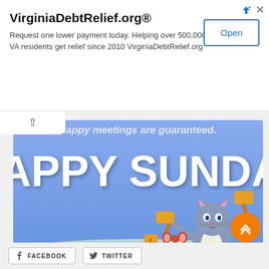[Figure (other): Advertisement banner for VirginiaDebtRelief.org with title, description text, and Open button]
[Figure (illustration): Happy Sunday greeting card image with blue sky background, Tom and Jerry cartoon characters holding mallets/hammers, purple ground, and white 'HAPPY SUNDAY' text. Watermark: www.wishescompanion.com Wishes, Messages and Quotes]
[Figure (other): Orange circular scroll-to-top button with double up-arrow chevron]
[Figure (other): Facebook and Twitter social share buttons at the bottom]